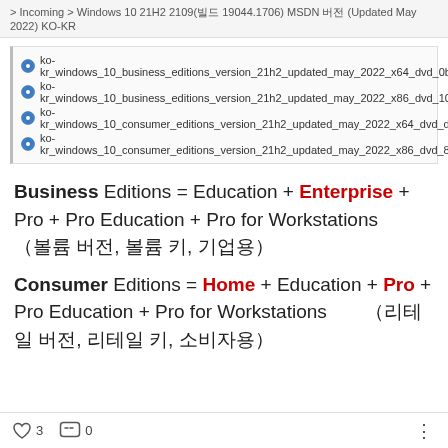> Incoming > Windows 10 21H2 2109(빌드 19044.1706) MSDN 버전 (Updated May 2022) KO-KR
ko-kr_windows_10_business_editions_version_21h2_updated_may_2022_x64_dvd_0b96c3f0.iso
ko-kr_windows_10_business_editions_version_21h2_updated_may_2022_x86_dvd_10cbff5d.iso
ko-kr_windows_10_consumer_editions_version_21h2_updated_may_2022_x64_dvd_dd925a1b.iso
ko-kr_windows_10_consumer_editions_version_21h2_updated_may_2022_x86_dvd_8713e038.iso
Business Editions = Education + Enterprise + Pro + Pro Education + Pro for Workstations　（볼륨 버전, 볼륨 키, 기업용）
Consumer Editions = Home + Education + Pro + Pro Education + Pro for Workstations　　（리테일 버전, 리테일 키, 소비자용）
♡ 3    ⬜ 0    ···